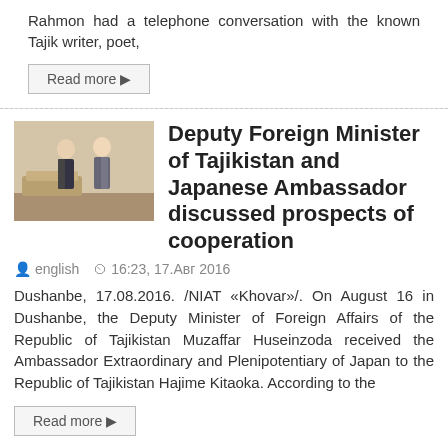Rahmon had a telephone conversation with the known Tajik writer, poet,
Read more ▶
Deputy Foreign Minister of Tajikistan and Japanese Ambassador discussed prospects of cooperation
english   16:23, 17.Авг 2016
Dushanbe, 17.08.2016. /NIAT «Khovar»/. On August 16 in Dushanbe, the Deputy Minister of Foreign Affairs of the Republic of Tajikistan Muzaffar Huseinzoda received the Ambassador Extraordinary and Plenipotentiary of Japan to the Republic of Tajikistan Hajime Kitaoka. According to the
Read more ▶
Next meeting of the Coordination Council on Tuberculosis (TB) kicks